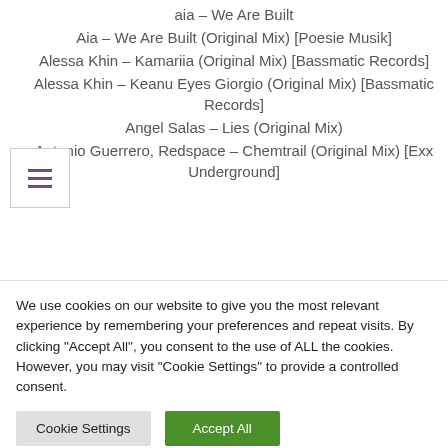aia – We Are Built
Aia – We Are Built (Original Mix) [Poesie Musik]
Alessa Khin – Kamariia (Original Mix) [Bassmatic Records]
Alessa Khin – Keanu Eyes Giorgio (Original Mix) [Bassmatic Records]
Angel Salas – Lies (Original Mix)
Antonio Guerrero, Redspace – Chemtrail (Original Mix) [Exx Underground]
We use cookies on our website to give you the most relevant experience by remembering your preferences and repeat visits. By clicking "Accept All", you consent to the use of ALL the cookies. However, you may visit "Cookie Settings" to provide a controlled consent.